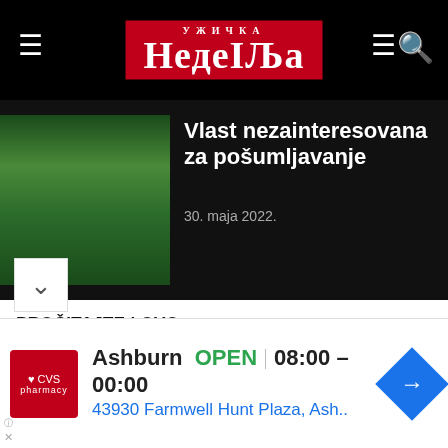Ужичка Недеља - navigation header with hamburger menus and search
[Figure (photo): Forest of tall evergreen trees - article thumbnail]
Vlast nezainteresovana za pošumljavanje
30. maja 2022.
PROČITAJTE I OVO
[Figure (photo): Building/hotel photo - article thumbnail for OPERACIJA U TOKU]
OPERACIJA U TOKU
13. jula 2015.
[Figure (photo): Field/meadow photo - article thumbnail for AMBROZIJA NA PONIKVAMA]
AMBROZIJA NA PONIKVAMA
16. oktobra 2014.
ORTAŽA   STARO UŽICE
A   FOTO GALERIJE
otografija bez odobrenja vlasnika zadržana.
Ashburn  OPEN | 08:00 – 00:00  43930 Farmwell Hunt Plaza, Ash..